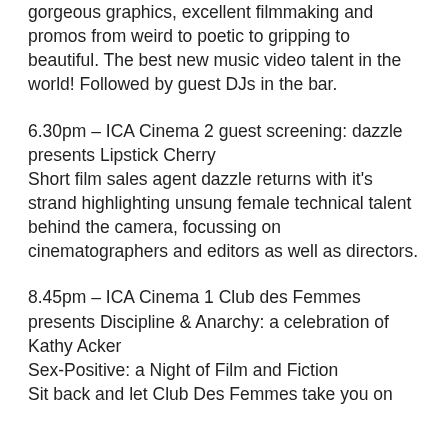gorgeous graphics, excellent filmmaking and promos from weird to poetic to gripping to beautiful. The best new music video talent in the world! Followed by guest DJs in the bar.
6.30pm – ICA Cinema 2 guest screening: dazzle presents Lipstick Cherry
Short film sales agent dazzle returns with it's strand highlighting unsung female technical talent behind the camera, focussing on cinematographers and editors as well as directors.
8.45pm – ICA Cinema 1 Club des Femmes presents Discipline & Anarchy: a celebration of Kathy Acker
Sex-Positive: a Night of Film and Fiction
Sit back and let Club Des Femmes take you on